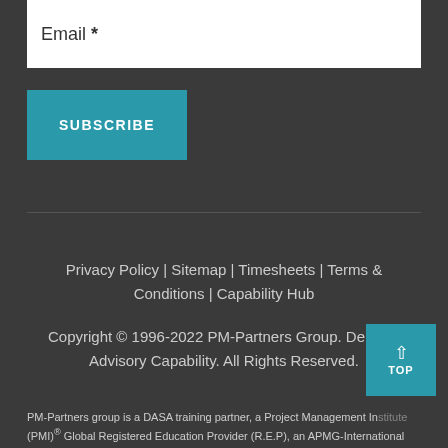Email *
SUBSCRIBE
Privacy Policy | Sitemap | Timesheets | Terms & Conditions | Capability Hub
Copyright © 1996-2022 PM-Partners Group. Delivery Advisory Capability. All Rights Reserved.
TOP
PM-Partners group is a DASA training partner, a Project Management Institute (PMI)® Global Registered Education Provider (R.E.P), an APMG-International